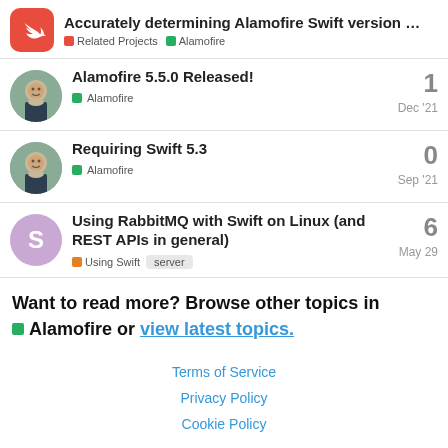Accurately determining Alamofire Swift version … | Related Projects | Alamofire
Alamofire 5.5.0 Released! | Alamofire | 1 | Dec '21
Requiring Swift 5.3 | Alamofire | 0 | Sep '21
Using RabbitMQ with Swift on Linux (and REST APIs in general) | Using Swift | server | 6 | May 29
Want to read more? Browse other topics in Alamofire or view latest topics.
Terms of Service   Privacy Policy   Cookie Policy